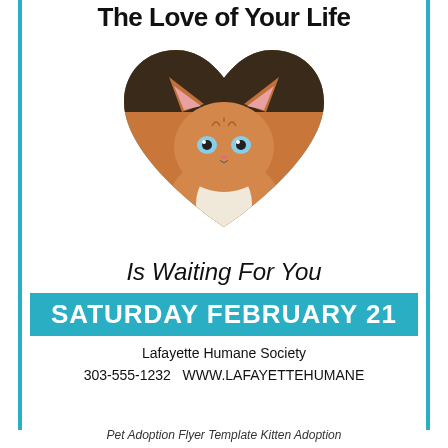The Love of Your Life
[Figure (illustration): A blue heart shape containing a photo of an orange tabby kitten with blue eyes, sitting and looking forward. The heart acts as a frame/cutout for the kitten photo.]
Is Waiting For You
SATURDAY FEBRUARY 21
Lafayette Humane Society
303-555-1232   WWW.LAFAYETTEHUMANE
Pet Adoption Flyer Template Kitten Adoption